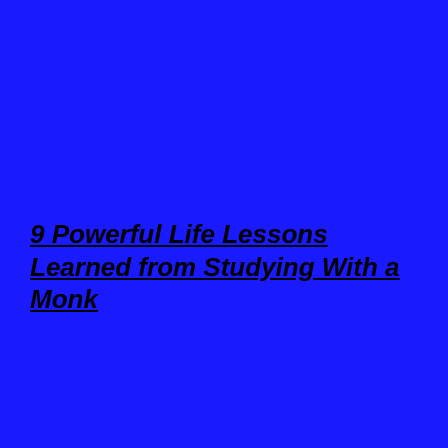9 Powerful Life Lessons Learned from Studying With a Monk